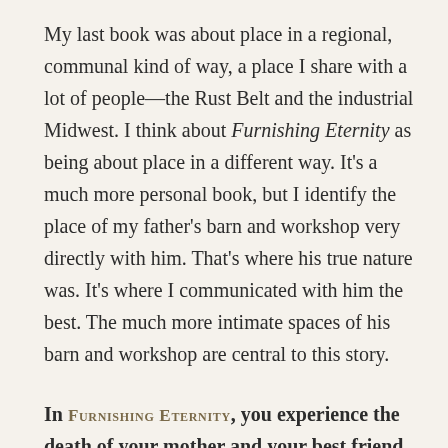My last book was about place in a regional, communal kind of way, a place I share with a lot of people—the Rust Belt and the industrial Midwest. I think about Furnishing Eternity as being about place in a different way. It's a much more personal book, but I identify the place of my father's barn and workshop very directly with him. That's where his true nature was. It's where I communicated with him the best. The much more intimate spaces of his barn and workshop are central to this story.
In FURNISHING ETERNITY, you experience the death of your mother and your best friend